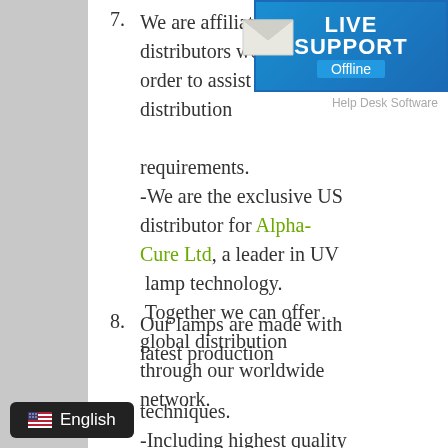7. We are affiliated with distributors worldwide in order to assist with global distribution requirements.
-We are the exclusive US distributor for Alpha-Cure Ltd, a leader in UV lamp technology.
 Together we can offer global distribution through our worldwide network.
[Figure (infographic): Live Support badge showing 'LIVE SUPPORT Offline' with envelope icon and blue background]
8. Our lamps are made with latest production techniques.
-Including highest quality
[Figure (infographic): Language selector badge showing US flag and 'English']